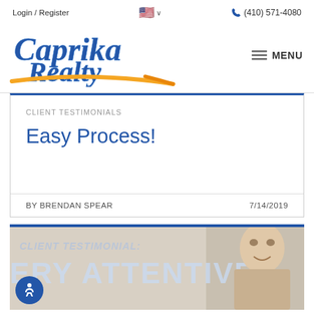Login / Register   🇺🇸 ∨   (410) 571-4080
[Figure (logo): Caprika Realty logo in blue italic script with yellow/orange swoosh underline]
CLIENT TESTIMONIALS
Easy Process!
BY BRENDAN SPEAR   7/14/2019
[Figure (photo): Photo showing a person holding a sign reading CLIENT TESTIMONIAL: VERY ATTENTIVE, with a smiling man visible on the right side]